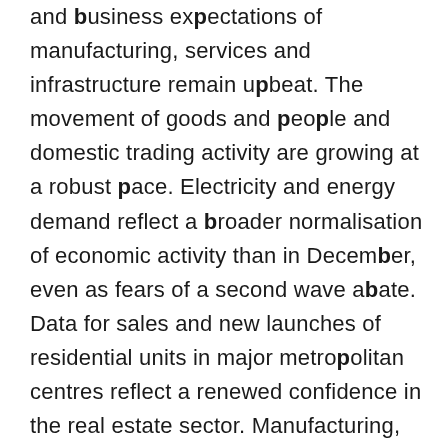and business expectations of manufacturing, services and infrastructure remain upbeat. The movement of goods and people and domestic trading activity are growing at a robust pace. Electricity and energy demand reflect a broader normalisation of economic activity than in December, even as fears of a second wave abate. Data for sales and new launches of residential units in major metropolitan centres reflect a renewed confidence in the real estate sector. Manufacturing, services and composite purchasing managers' indices (PMI) are in expansion zones – the manufacturing PMI rose to 57.7 in January 2021 from 56.4 in December 2020 and and the services PMI rose to 52.8 in January 2021 from 52.3 in